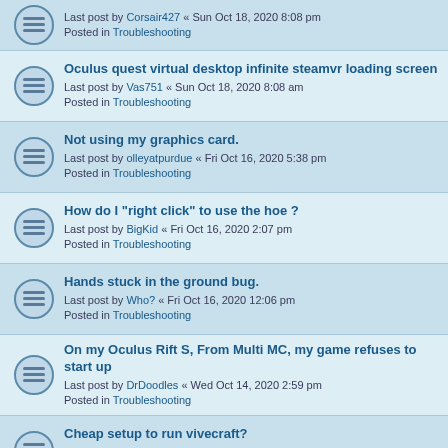Last post by Corsair427 « Sun Oct 18, 2020 8:08 pm
Posted in Troubleshooting
Oculus quest virtual desktop infinite steamvr loading screen
Last post by Vas751 « Sun Oct 18, 2020 8:08 am
Posted in Troubleshooting
Not using my graphics card.
Last post by olleyatpurdue « Fri Oct 16, 2020 5:38 pm
Posted in Troubleshooting
How do I "right click" to use the hoe ?
Last post by BigKid « Fri Oct 16, 2020 2:07 pm
Posted in Troubleshooting
Hands stuck in the ground bug.
Last post by Who? « Fri Oct 16, 2020 12:06 pm
Posted in Troubleshooting
On my Oculus Rift S, From Multi MC, my game refuses to start up
Last post by DrDoodles « Wed Oct 14, 2020 2:59 pm
Posted in Troubleshooting
Cheap setup to run vivecraft?
Last post by TheNateZzzz « Tue Oct 06, 2020 5:14 am
Posted in General
Which high-end CPU?
Last post by Gus_Smedstad « Mon Sep 28, 2020 9:47 pm
Posted in General
1.16.3 Cannot place single item in menu
Last post by Chikokishi « Mon Sep 28, 2020 5:06 pm
Posted in Troubleshooting